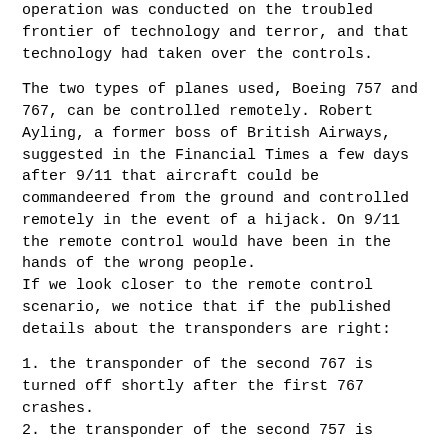operation was conducted on the troubled frontier of technology and terror, and that technology had taken over the controls.
The two types of planes used, Boeing 757 and 767, can be controlled remotely. Robert Ayling, a former boss of British Airways, suggested in the Financial Times a few days after 9/11 that aircraft could be commandeered from the ground and controlled remotely in the event of a hijack. On 9/11 the remote control would have been in the hands of the wrong people. If we look closer to the remote control scenario, we notice that if the published details about the transponders are right:
1. the transponder of the second 767 is turned off shortly after the first 767 crashes.
2. the transponder of the second 757 is